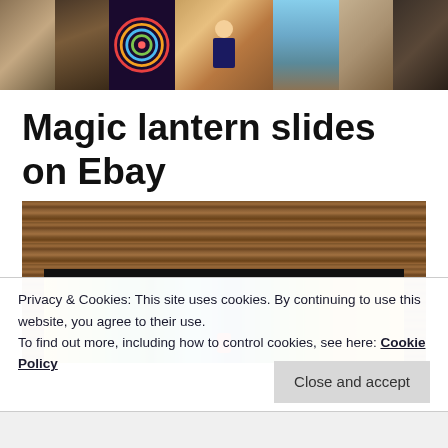[Figure (photo): Header banner strip with multiple historical photos: antique machines, colorful mandala, performers in formal wear, scenes with figures in historical dress, and portraits in sepia tones]
Magic lantern slides on Ebay
[Figure (photo): Close-up photo of a magic lantern slide showing a colorful stained-glass style image of tropical foliage with a red parrot, set in a wooden frame with dark border]
Privacy & Cookies: This site uses cookies. By continuing to use this website, you agree to their use.
To find out more, including how to control cookies, see here: Cookie Policy
Close and accept